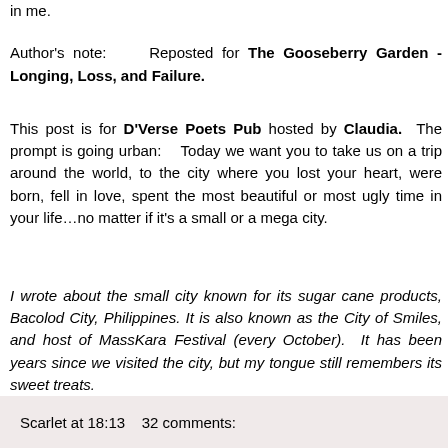in me.
Author's note:    Reposted for The Gooseberry Garden - Longing, Loss, and Failure.
This post is for D'Verse Poets Pub hosted by Claudia.  The prompt is going urban:    Today we want you to take us on a trip around the world, to the city where you lost your heart, were born, fell in love, spent the most beautiful or most ugly time in your life…no matter if it's a small or a mega city.
I wrote about the small city known for its sugar cane products, Bacolod City, Philippines. It is also known as the City of Smiles, and host of MassKara Festival (every October).  It has been years since we visited the city, but my tongue still remembers its sweet treats.
Scarlet at 18:13    32 comments: